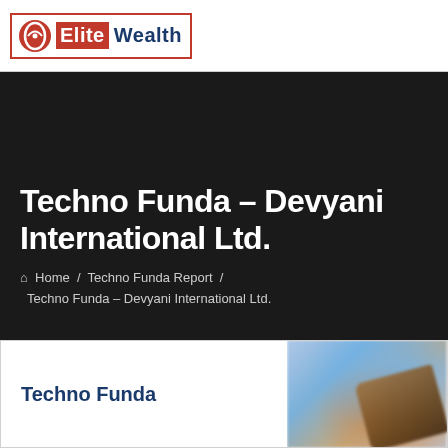[Figure (logo): Elite Wealth logo — circular icon with stylized 'e', red background 'Elite', blue 'Wealth' text, red border box]
Techno Funda – Devyani International Ltd.
Home / Techno Funda Report / Techno Funda – Devyani International Ltd.
[Figure (photo): Person holding a dark card/phone with blurred blue and brown background lighting]
Techno Funda